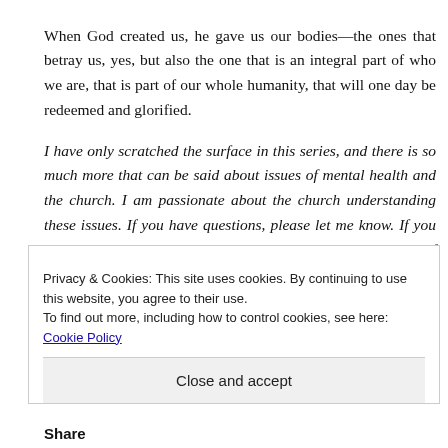When God created us, he gave us our bodies—the ones that betray us, yes, but also the one that is an integral part of who we are, that is part of our whole humanity, that will one day be redeemed and glorified.
I have only scratched the surface in this series, and there is so much more that can be said about issues of mental health and the church. I am passionate about the church understanding these issues. If you have questions, please let me know. If you have an anxiety disorder, I hope this is encouraging to you. If you do not, I hope this is educational.
Privacy & Cookies: This site uses cookies. By continuing to use this website, you agree to their use.
To find out more, including how to control cookies, see here: Cookie Policy
Close and accept
Share